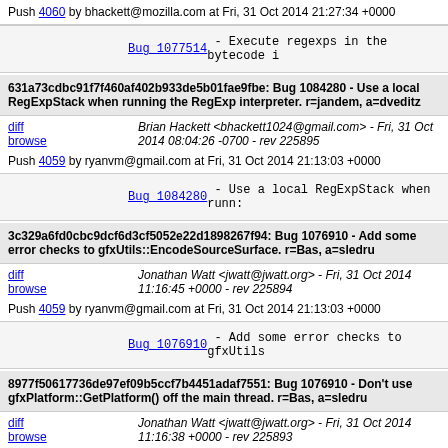Push 4060 by bhackett@mozilla.com at Fri, 31 Oct 2014 21:27:34 +0000
Bug 1077514 - Execute regexps in the bytecode i...
631a73cdbc91f7f460af402b933de5b01fae9fbe: Bug 1084280 - Use a local RegExpStack when running the RegExp interpreter. r=jandem, a=dveditz
diff browse  Brian Hackett <bhackett1024@gmail.com> - Fri, 31 Oct 2014 08:04:26 -0700 - rev 225895
Push 4059 by ryanvm@gmail.com at Fri, 31 Oct 2014 21:13:03 +0000
Bug 1084280 - Use a local RegExpStack when runn...
3c329a6fd0cbc9dcf6d3cf5052e22d1898267f94: Bug 1076910 - Add some error checks to gfxUtils::EncodeSourceSurface. r=Bas, a=sledru
diff browse  Jonathan Watt <jwatt@jwatt.org> - Fri, 31 Oct 2014 11:16:45 +0000 - rev 225894
Push 4059 by ryanvm@gmail.com at Fri, 31 Oct 2014 21:13:03 +0000
Bug 1076910 - Add some error checks to gfxUtils...
8977f50617736de97ef09b5ccf7b4451adaf7551: Bug 1076910 - Don't use gfxPlatform::GetPlatform() off the main thread. r=Bas, a=sledru
diff browse  Jonathan Watt <jwatt@jwatt.org> - Fri, 31 Oct 2014 11:16:38 +0000 - rev 225893
Push 4059 by ryanvm@gmail.com at Fri, 31 Oct 2014 21:13:03 +0000